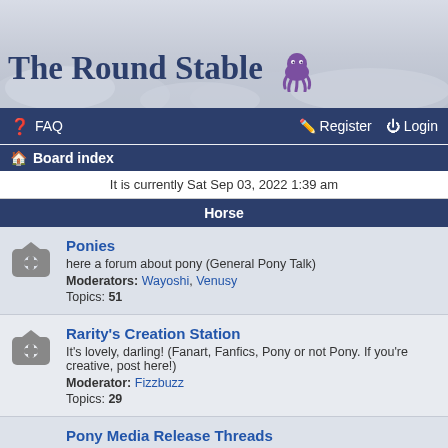[Figure (illustration): Forum banner with clouds background and site title 'The Round Stable' with a purple octopus/pony mascot icon]
FAQ  Register  Login
Board index
It is currently Sat Sep 03, 2022 1:39 am
Horse
Ponies
here a forum about pony (General Pony Talk)
Moderators: Wayoshi, Venusy
Topics: 51
Rarity's Creation Station
It's lovely, darling! (Fanart, Fanfics, Pony or not Pony. If you're creative, post here!)
Moderator: Fizzbuzz
Topics: 29
Pony Media Release Threads